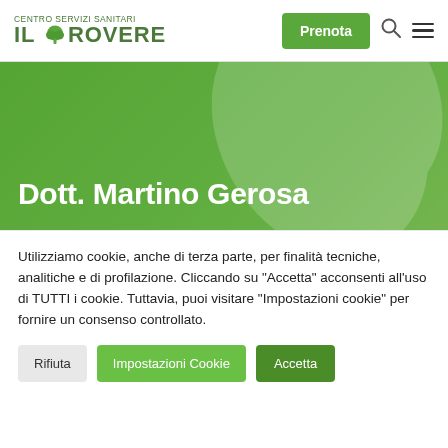CENTRO SERVIZI SANITARI IL ROVERE | Prenota
[Figure (screenshot): Green banner with blurred leaf background showing page title]
Dott. Martino Gerosa
Utilizziamo cookie, anche di terza parte, per finalità tecniche, analitiche e di profilazione. Cliccando su "Accetta" acconsenti all'uso di TUTTI i cookie. Tuttavia, puoi visitare "Impostazioni cookie" per fornire un consenso controllato.
Rifiuta
Impostazioni Cookie
Accetta